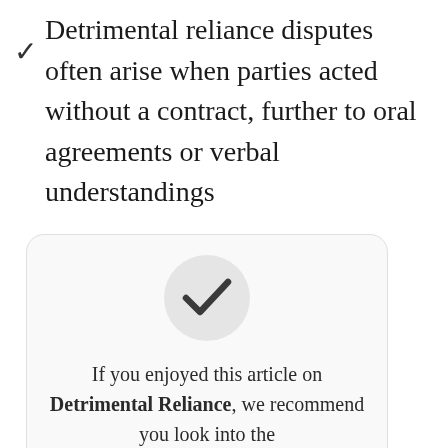Detrimental reliance disputes often arise when parties acted without a contract, further to oral agreements or verbal understandings
[Figure (illustration): A light gray circle containing a bold dark checkmark icon, centered inside a rounded rectangle callout box]
If you enjoyed this article on Detrimental Reliance, we recommend you look into the